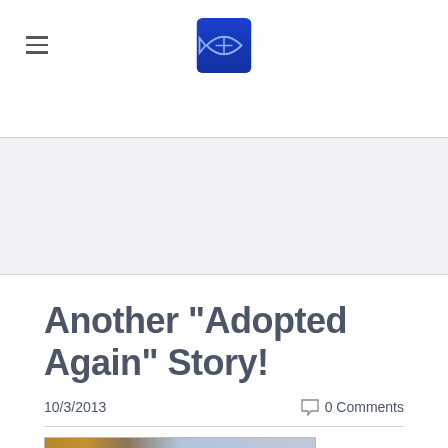Navigation header with hamburger menu and fish logo
[Figure (illustration): Grey banner/hero image area below navigation]
Another "Adopted Again" Story!
10/3/2013
0 Comments
[Figure (photo): Partial photo showing interior with wooden and blue elements]